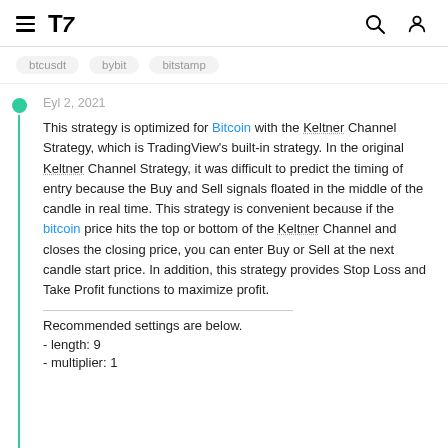TradingView header with hamburger menu, TV logo, search icon, and user icon
btcusdt   bybit   bitstamp
Eyl 2, 2021
This strategy is optimized for Bitcoin with the Keltner Channel Strategy, which is TradingView's built-in strategy. In the original Keltner Channel Strategy, it was difficult to predict the timing of entry because the Buy and Sell signals floated in the middle of the candle in real time. This strategy is convenient because if the bitcoin price hits the top or bottom of the Keltner Channel and closes the closing price, you can enter Buy or Sell at the next candle start price. In addition, this strategy provides Stop Loss and Take Profit functions to maximize profit.
Recommended settings are below.
- length: 9
- multiplier: 1